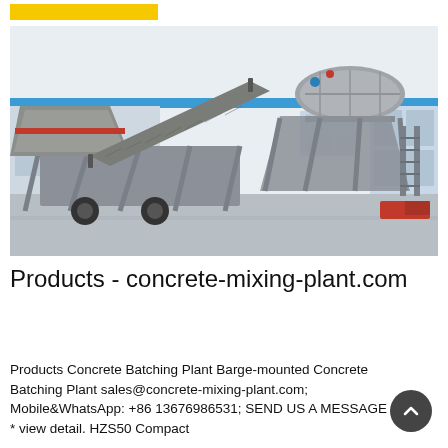[Figure (photo): Outdoor photo of a large mobile/compact concrete batching plant with conveyor belt, mixer drum, aggregate bins on a steel frame chassis with wheels, parked on a concrete yard in front of an industrial building with blue stripe.]
Products - concrete-mixing-plant.com
Products Concrete Batching Plant Barge-mounted Concrete Batching Plant sales@concrete-mixing-plant.com; Mobile&WhatsApp: +86 13676986531; SEND US A MESSAGE * * view detail. HZS50 Compact